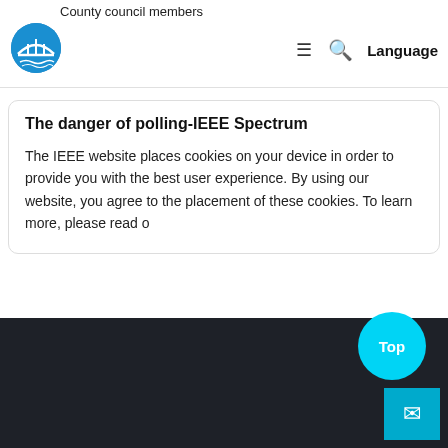County council members
The danger of polling-IEEE Spectrum
The IEEE website places cookies on your device in order to provide you with the best user experience. By using our website, you agree to the placement of these cookies. To learn more, please read o
;
i
[Figure (other): Dark footer bar with cyan 'Top' circular button and cyan mail icon button in bottom right corner]